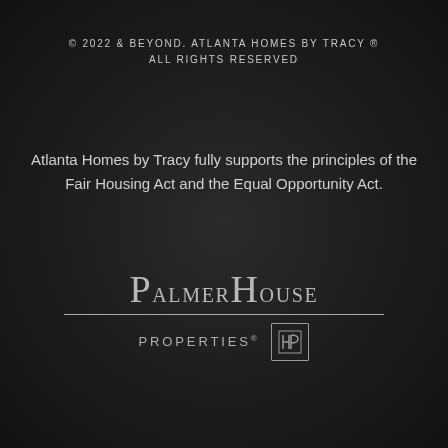© 2022 & BEYOND. ATLANTA HOMES BY TRACY ® ALL RIGHTS RESERVED
Atlanta Homes by Tracy fully supports the principles of the Fair Housing Act and the Equal Opportunity Act.
[Figure (logo): PalmerHouse Properties logo with stylized HP monogram emblem]